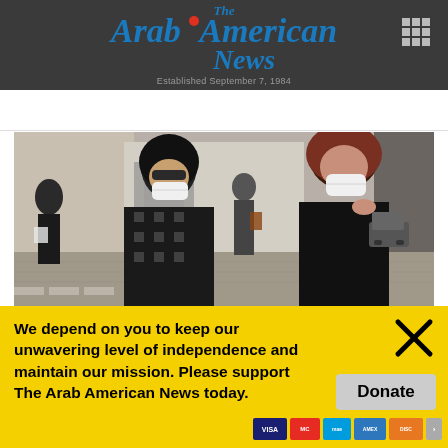The Arab American News — Established September 7, 1984
[Figure (photo): People wearing face masks walking on a street, with women in headscarves in the foreground]
We depend on you to keep our unwavering level of independence and maintain our mission. Please support The Arab American News today.